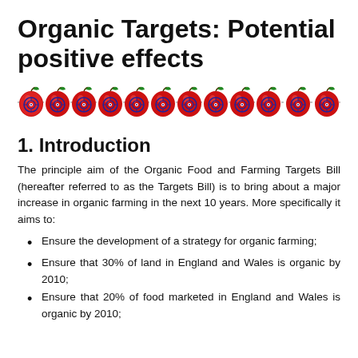Organic Targets: Potential positive effects
[Figure (illustration): A row of 12 red apple icons each with a target/crosshair symbol on them, connected by a dotted line, used as a decorative divider.]
1. Introduction
The principle aim of the Organic Food and Farming Targets Bill (hereafter referred to as the Targets Bill) is to bring about a major increase in organic farming in the next 10 years. More specifically it aims to:
Ensure the development of a strategy for organic farming;
Ensure that 30% of land in England and Wales is organic by 2010;
Ensure that 20% of food marketed in England and Wales is organic by 2010;